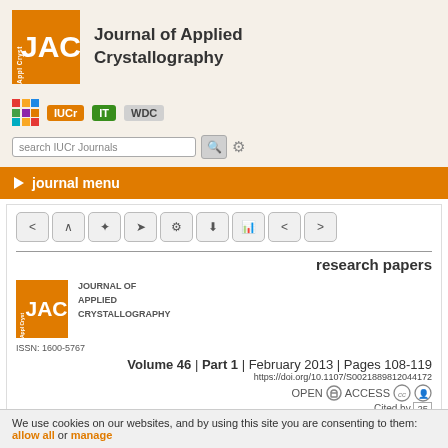[Figure (logo): Journal of Applied Crystallography (JAC) logo in orange square with white text]
Journal of Applied Crystallography
[Figure (logo): IUCr, IT, WDC navigation badges and grid icon]
search IUCr Journals
journal menu
[Figure (screenshot): Navigation toolbar with back, up, bookmark, arrow, settings, download, chart, share, and forward buttons]
research papers
[Figure (logo): Small JAC journal logo]
JOURNAL OF APPLIED CRYSTALLOGRAPHY
ISSN: 1600-5767
Volume 46 | Part 1 | February 2013 | Pages 108-119
https://doi.org/10.1107/S0021889812044172
OPEN ACCESS
Cited by 25
We use cookies on our websites, and by using this site you are consenting to them: allow all or manage